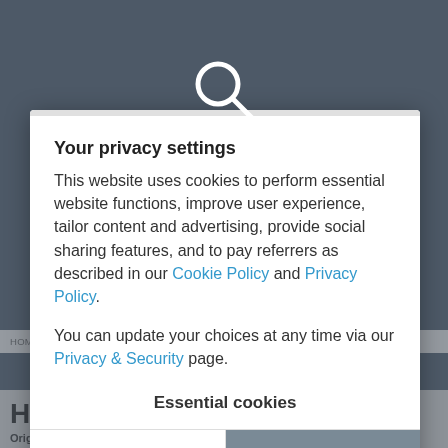[Figure (screenshot): Background webpage with dark blue-grey overlay, showing a product page for HP Pavilion dv7-2003 memory.]
HOME > LAPTOP MEMORY MANUFACTURERS > HP > PAVILION > PAVILION DV7-20...
Your privacy settings
This website uses cookies to perform essential website functions, improve user experience, tailor content and advertising, provide social sharing features, and to pay referrers as described in our Cookie Policy and Privacy Policy.
You can update your choices at any time via our Privacy & Security page.
Essential cookies
LEARN MORE
ACCEPT ALL
HP Pavilion dv7-2003
Original and 2-POWER matched memory for over 6000 different lapto...